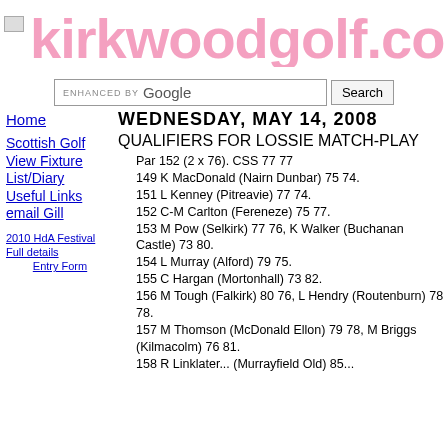kirkwoodgolf.co
WEDNESDAY, MAY 14, 2008
QUALIFIERS FOR LOSSIE MATCH-PLAY
Par 152 (2 x 76). CSS 77 77
149 K MacDonald (Nairn Dunbar) 75 74.
151 L Kenney (Pitreavie) 77 74.
152 C-M Carlton (Fereneze) 75 77.
153 M Pow (Selkirk) 77 76, K Walker (Buchanan Castle) 73 80.
154 L Murray (Alford) 79 75.
155 C Hargan (Mortonhall) 73 82.
156 M Tough (Falkirk) 80 76, L Hendry (Routenburn) 78 78.
157 M Thomson (McDonald Ellon) 79 78, M Briggs (Kilmacolm) 76 81.
158 R Linklater... (Murrayfield Old) 85...